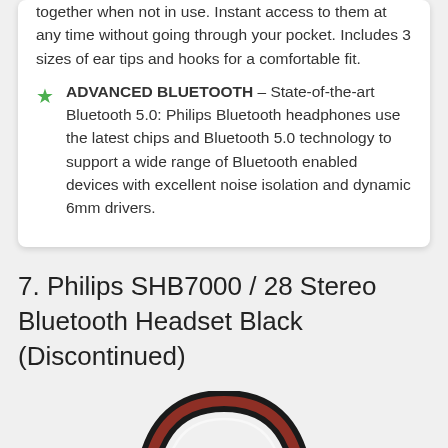together when not in use. Instant access to them at any time without going through your pocket. Includes 3 sizes of ear tips and hooks for a comfortable fit.
ADVANCED BLUETOOTH – State-of-the-art Bluetooth 5.0: Philips Bluetooth headphones use the latest chips and Bluetooth 5.0 technology to support a wide range of Bluetooth enabled devices with excellent noise isolation and dynamic 6mm drivers.
7. Philips SHB7000 / 28 Stereo Bluetooth Headset Black (Discontinued)
[Figure (photo): Photo of Philips SHB7000 black over-ear Bluetooth headset, partially visible at the bottom of the page, showing black and red cushioning.]